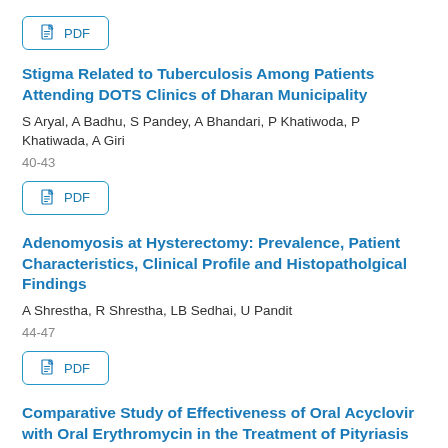[Figure (other): PDF download button at top of page]
Stigma Related to Tuberculosis Among Patients Attending DOTS Clinics of Dharan Municipality
S Aryal, A Badhu, S Pandey, A Bhandari, P Khatiwoda, P Khatiwada, A Giri
40-43
[Figure (other): PDF download button]
Adenomyosis at Hysterectomy: Prevalence, Patient Characteristics, Clinical Profile and Histopatholgical Findings
A Shrestha, R Shrestha, LB Sedhai, U Pandit
44-47
[Figure (other): PDF download button]
Comparative Study of Effectiveness of Oral Acyclovir with Oral Erythromycin in the Treatment of Pityriasis Rosea